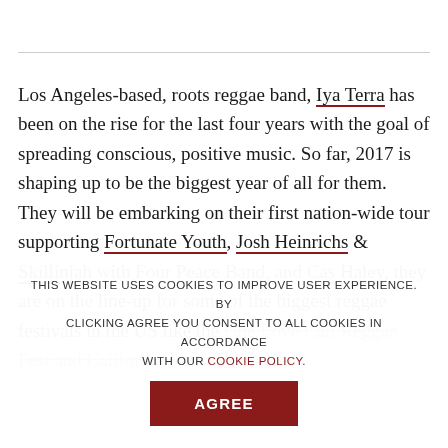Los Angeles-based, roots reggae band, Iya Terra has been on the rise for the last four years with the goal of spreading conscious, positive music. So far, 2017 is shaping up to be the biggest year of all for them. They will be embarking on their first nation-wide tour supporting Fortunate Youth, Josh Heinrichs & Skillinjah with Four Peace Band, and Cas Haley, they are on the line-up for some of the biggest reggae festivals in the US like the One Love Cali Reggae Fest and California Roots Festival
THIS WEBSITE USES COOKIES TO IMPROVE USER EXPERIENCE. BY CLICKING AGREE YOU CONSENT TO ALL COOKIES IN ACCORDANCE WITH OUR COOKIE POLICY.